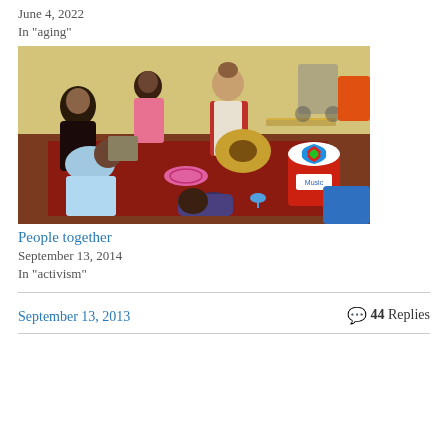June 4, 2022
In "aging"
[Figure (photo): Group of people including children sitting on the floor around a woman playing guitar, with music instruments including a tambourine and maracas, and a red bucket with a colorful swirl design labeled 'Music']
People together
September 13, 2014
In "activism"
September 13, 2013
44 Replies